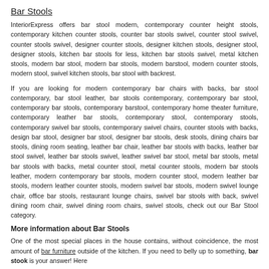Bar Stools
InteriorExpress offers bar stool modern, contemporary counter height stools, contemporary kitchen counter stools, counter bar stools swivel, counter stool swivel, counter stools swivel, designer counter stools, designer kitchen stools, designer stool, designer stools, kitchen bar stools for less, kitchen bar stools swivel, metal kitchen stools, modern bar stool, modern bar stools, modern barstool, modern counter stools, modern stool, swivel kitchen stools, bar stool with backrest.
If you are looking for modern contemporary bar chairs with backs, bar stool contemporary, bar stool leather, bar stools contemporary, contemporary bar stool, contemporary bar stools, contemporary barstool, contemporary home theater furniture, contemporary leather bar stools, contemporary stool, contemporary stools, contemporary swivel bar stools, contemporary swivel chairs, counter stools with backs, design bar stool, designer bar stool, designer bar stools, desk stools, dining chairs bar stools, dining room seating, leather bar chair, leather bar stools with backs, leather bar stool swivel, leather bar stools swivel, leather swivel bar stool, metal bar stools, metal bar stools with backs, metal counter stool, metal counter stools, modern bar stools leather, modern contemporary bar stools, modern counter stool, modern leather bar stools, modern leather counter stools, modern swivel bar stools, modern swivel lounge chair, office bar stools, restaurant lounge chairs, swivel bar stools with back, swivel dining room chair, swivel dining room chairs, swivel stools, check out our Bar Stool category.
More information about Bar Stools
One of the most special places in the house contains, without coincidence, the most amount of bar furniture outside of the kitchen. If you need to belly up to something, bar stook is your answer! Here